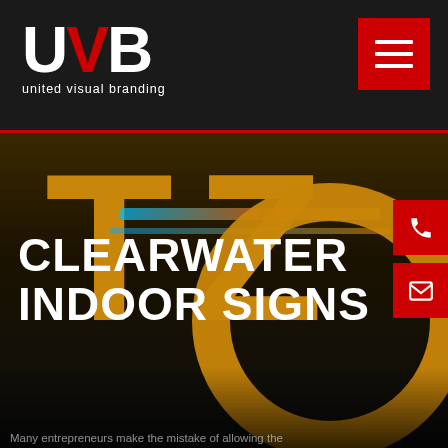[Figure (logo): UVB United Visual Branding logo — white U, red V, white B letters in bold, with tagline 'united visual branding' below in white]
[Figure (other): Red hamburger menu button (three white horizontal lines) in top right corner]
[Figure (photo): Dark background photo showing large yellow/gold illuminated letters (T, Z) and a circular ring sign, with neon strip lighting behind]
CLEARWATER INDOOR SIGNS
[Figure (other): Red phone icon button on right side]
[Figure (other): Red email/envelope icon button on right side]
Many entrepreneurs make the mistake of allowing the